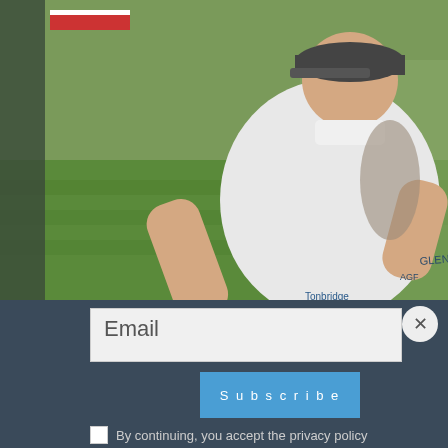[Figure (photo): A golfer wearing a white polo shirt with 'Glenmuir' and 'Tonbridge' logos, bending forward holding a golf ball in one hand at a golf course green. Another person visible in the background holding a golf club.]
Email
Subscribe
By continuing, you accept the privacy policy